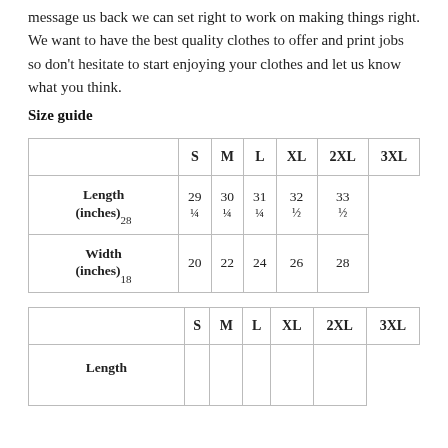message us back we can set right to work on making things right. We want to have the best quality clothes to offer and print jobs so don't hesitate to start enjoying your clothes and let us know what you think.
Size guide
|  | S | M | L | XL | 2XL | 3XL |
| --- | --- | --- | --- | --- | --- | --- |
| Length (inches) 28 | 29 ¼ | 30 ¼ | 31 ¼ | 32 ½ | 33 ½ |
| Width (inches) 18 | 20 | 22 | 24 | 26 | 28 |
|  | S | M | L | XL | 2XL | 3XL |
| --- | --- | --- | --- | --- | --- | --- |
| Length |  |  |  |  |  |